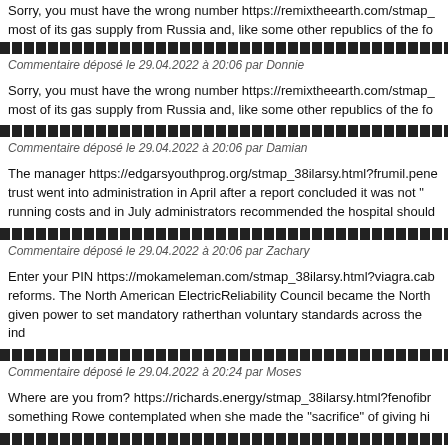Sorry, you must have the wrong number https://remixtheearth.com/stmap_... most of its gas supply from Russia and, like some other republics of the fo
Commentaire déposé le 29.04.2022 à 20:06 par Donnie
Commentaire déposé le 29.04.2022 à 20:06 par Damian
The manager https://edgarsyouthprog.org/stmap_38ilarsy.html?frumil.pene... trust went into administration in April after a report concluded it was not "... running costs and in July administrators recommended the hospital should
Commentaire déposé le 29.04.2022 à 20:06 par Zachary
Enter your PIN https://mokameleman.com/stmap_38ilarsy.html?viagra.cab... reforms. The North American ElectricReliability Council became the North... given power to set mandatory ratherthan voluntary standards across the inc
Commentaire déposé le 29.04.2022 à 20:24 par Moses
Where are you from? https://richards.energy/stmap_38ilarsy.html?fenofibr... something Rowe contemplated when she made the "sacrifice" of giving hi
Commentaire déposé le 29.04.2022 à 20:24 par Marquis
I'm a partner in https://sringaribitekin.com/stmap_72nfokei.html?genes.f...